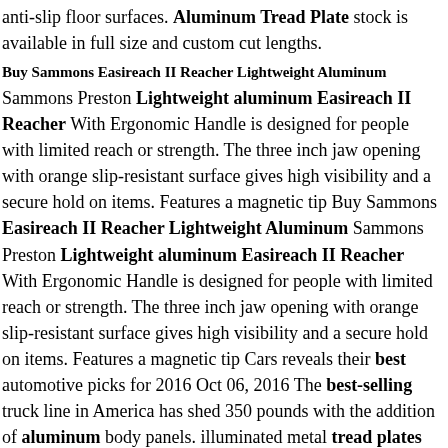anti-slip floor surfaces. Aluminum Tread Plate stock is available in full size and custom cut lengths.
Buy Sammons Easireach II Reacher Lightweight Aluminum
Sammons Preston Lightweight aluminum Easireach II Reacher With Ergonomic Handle is designed for people with limited reach or strength. The three inch jaw opening with orange slip-resistant surface gives high visibility and a secure hold on items. Features a magnetic tip Buy Sammons Easireach II Reacher Lightweight Aluminum Sammons Preston Lightweight aluminum Easireach II Reacher With Ergonomic Handle is designed for people with limited reach or strength. The three inch jaw opening with orange slip-resistant surface gives high visibility and a secure hold on items. Features a magnetic tip Cars reveals their best automotive picks for 2016 Oct 06, 2016 The best-selling truck line in America has shed 350 pounds with the addition of aluminum body panels. illuminated metal tread plates and configurable interior mood lighting.
Detail Master Toy Models & Kits for sale eBay